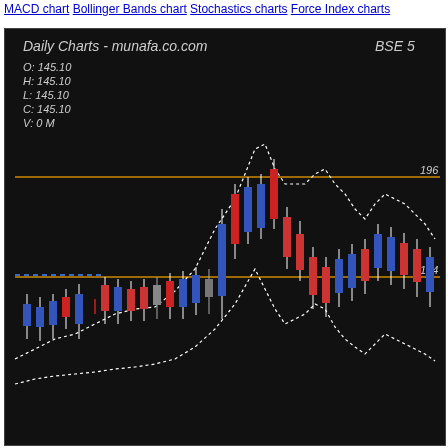MACD chart  Bollinger Bands chart  Stochastics charts  Force Index charts
[Figure (continuous-plot): BSE 5 Daily Bollinger Bands candlestick chart from munafa.co.com. Shows OHLC: O:145.10, H:145.10, L:145.10, C:145.10, V:0 M. Two horizontal orange lines at price levels 196 and 164. A dotted white Bollinger Bands envelope overlaying blue (bullish) and red (bearish) candlesticks. The price rises from lower left forming a peak around the center, then pulls back and rises again on the right. A dashed blue horizontal line near the 164 level on the left portion.]